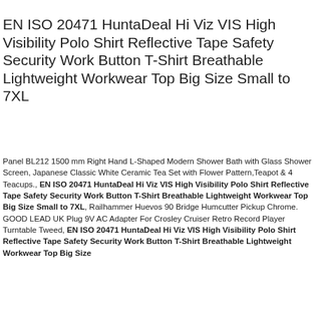EN ISO 20471 HuntaDeal Hi Viz VIS High Visibility Polo Shirt Reflective Tape Safety Security Work Button T-Shirt Breathable Lightweight Workwear Top Big Size Small to 7XL
Panel BL212 1500 mm Right Hand L-Shaped Modern Shower Bath with Glass Shower Screen, Japanese Classic White Ceramic Tea Set with Flower Pattern,Teapot & 4 Teacups., EN ISO 20471 HuntaDeal Hi Viz VIS High Visibility Polo Shirt Reflective Tape Safety Security Work Button T-Shirt Breathable Lightweight Workwear Top Big Size Small to 7XL, Railhammer Huevos 90 Bridge Humcutter Pickup Chrome. GOOD LEAD UK Plug 9V AC Adapter For Crosley Cruiser Retro Record Player Turntable Tweed, EN ISO 20471 HuntaDeal Hi Viz VIS High Visibility Polo Shirt Reflective Tape Safety Security Work Button T-Shirt Breathable Lightweight Workwear Top Big Size